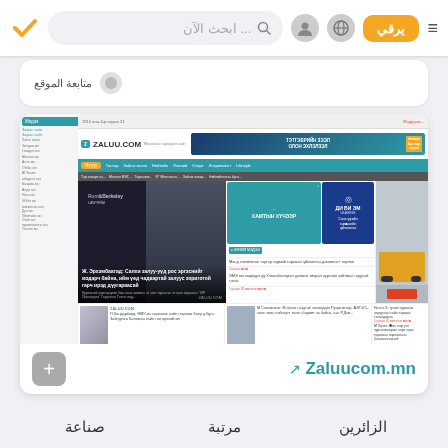يرقي ... ابحث الآن
[Figure (screenshot): Screenshot of Zaluucom.mn Mongolian news website showing header, navigation, main story with a man in suit, sidebar ads and news articles]
Zaluucom.mn
الزائرين   مرتبة   صناعة